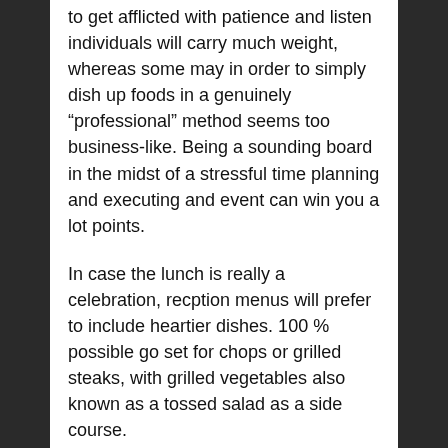to get afflicted with patience and listen individuals will carry much weight, whereas some may in order to simply dish up foods in a genuinely “professional” method seems too business-like. Being a sounding board in the midst of a stressful time planning and executing and event can win you a lot points.
In case the lunch is really a celebration, recption menus will prefer to include heartier dishes. 100 % possible go set for chops or grilled steaks, with grilled vegetables also known as a tossed salad as a side course.
Marketing your online business is required. You may write articles or hire ads within your local newspapers. You can also speak with the local radio station in region. Flyers and posters can also